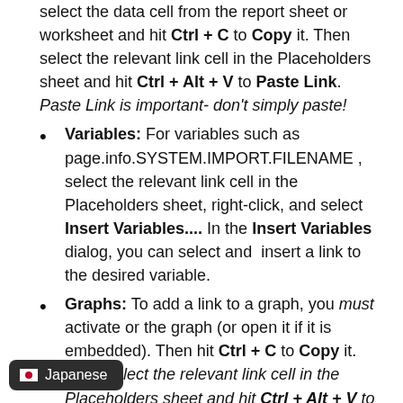select the data cell from the report sheet or worksheet and hit Ctrl + C to Copy it. Then select the relevant link cell in the Placeholders sheet and hit Ctrl + Alt + V to Paste Link. Paste Link is important- don't simply paste!
Variables: For variables such as page.info.SYSTEM.IMPORT.FILENAME , select the relevant link cell in the Placeholders sheet, right-click, and select Insert Variables.... In the Insert Variables dialog, you can select and insert a link to the desired variable.
Graphs: To add a link to a graph, you must activate or the graph (or open it if it is embedded). Then hit Ctrl + C to Copy it. Then select the relevant link cell in the Placeholders sheet and hit Ctrl + Alt + V to